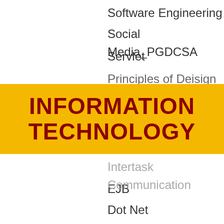Software Engineering
Social Media_PGDCSA
Servlet
Principles of Deisign
[Figure (other): Orange/yellow banner with bold dark red text reading INFORMATION TECHNOLOGY]
Intertask Communication
EJB
Dot Net
Big Data
Events Gallery
IOT Lab Inauguration, Dept. of IT
[Figure (other): Yellow scroll-to-top button with upward arrow]